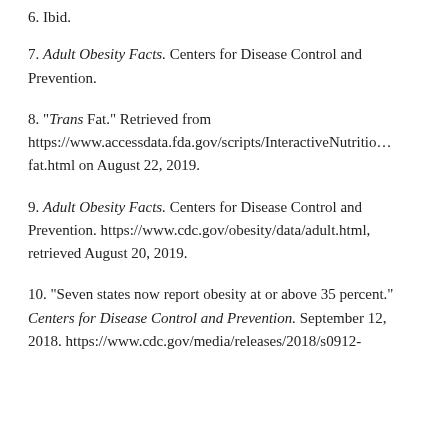6. Ibid.
7. Adult Obesity Facts. Centers for Disease Control and Prevention.
8. "Trans Fat." Retrieved from https://www.accessdata.fda.gov/scripts/InteractiveNutriti…fat.html on August 22, 2019.
9. Adult Obesity Facts. Centers for Disease Control and Prevention. https://www.cdc.gov/obesity/data/adult.html, retrieved August 20, 2019.
10. "Seven states now report obesity at or above 35 percent." Centers for Disease Control and Prevention. September 12, 2018. https://www.cdc.gov/media/releases/2018/s0912-